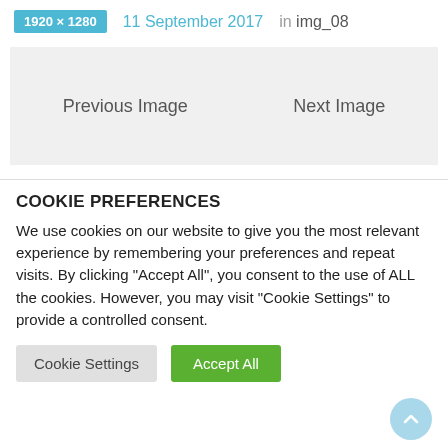1920×1280   11 September 2017   in img_08
Previous Image   Next Image
COOKIE PREFERENCES
We use cookies on our website to give you the most relevant experience by remembering your preferences and repeat visits. By clicking "Accept All", you consent to the use of ALL the cookies. However, you may visit "Cookie Settings" to provide a controlled consent.
Cookie Settings   Accept All